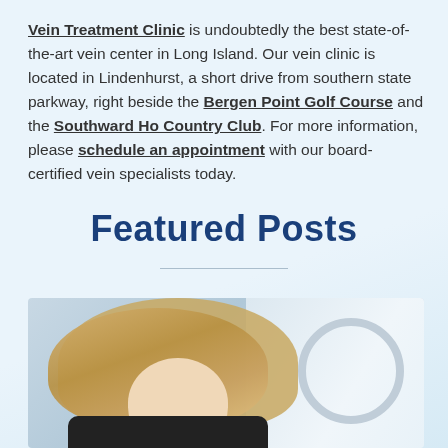Vein Treatment Clinic is undoubtedly the best state-of-the-art vein center in Long Island. Our vein clinic is located in Lindenhurst, a short drive from southern state parkway, right beside the Bergen Point Golf Course and the Southward Ho Country Club. For more information, please schedule an appointment with our board-certified vein specialists today.
Featured Posts
[Figure (photo): Photo of a smiling blonde woman looking down, wearing a dark jacket, with a circular metallic object visible on the right side of the image.]